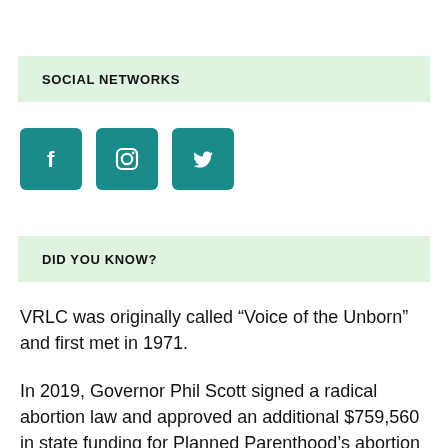SOCIAL NETWORKS
[Figure (illustration): Three social media icon buttons: Facebook (f), Instagram (camera icon), Twitter (bird icon), all in teal square buttons]
DID YOU KNOW?
VRLC was originally called “Voice of the Unborn” and first met in 1971.
In 2019, Governor Phil Scott signed a radical abortion law and approved an additional $759,560 in state funding for Planned Parenthood’s abortion